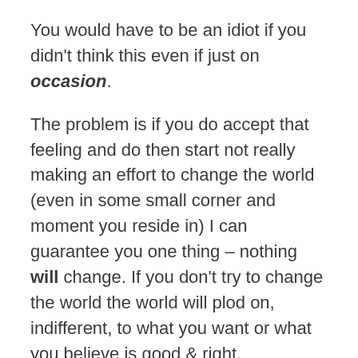You would have to be an idiot if you didn't think this even if just on occasion.
The problem is if you do accept that feeling and do then start not really making an effort to change the world (even in some small corner and moment you reside in) I can guarantee you one thing – nothing will change. If you don't try to change the world the world will plod on, indifferent, to what you want or what you believe is good & right.
Now